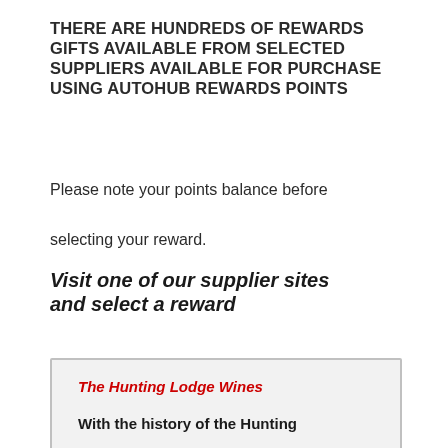THERE ARE HUNDREDS OF REWARDS GIFTS AVAILABLE FROM SELECTED SUPPLIERS AVAILABLE FOR PURCHASE USING AUTOHUB REWARDS POINTS
Please note your points balance before selecting your reward.
Visit one of our supplier sites and select a reward
The Hunting Lodge Wines
With the history of the Hunting